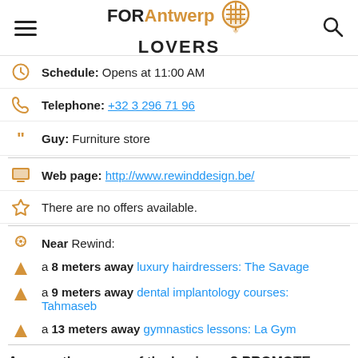FOR Antwerp LOVERS
Schedule: Opens at 11:00 AM
Telephone: +32 3 296 71 96
Guy: Furniture store
Web page: http://www.rewinddesign.be/
There are no offers available.
Near Rewind:
a 8 meters away luxury hairdressers: The Savage
a 9 meters away dental implantology courses: Tahmaseb
a 13 meters away gymnastics lessons: La Gym
Are you the owner of the business? PROMOTE